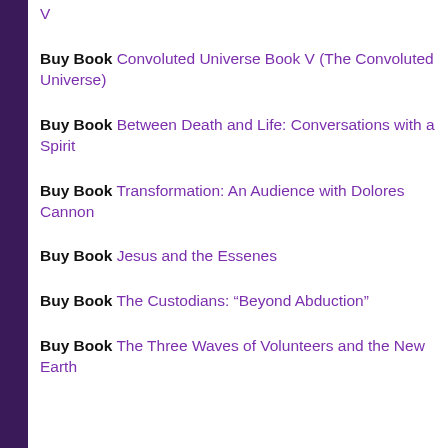V
Buy Book Convoluted Universe Book V (The Convoluted Universe)
Buy Book Between Death and Life: Conversations with a Spirit
Buy Book Transformation: An Audience with Dolores Cannon
Buy Book Jesus and the Essenes
Buy Book The Custodians: “Beyond Abduction”
Buy Book The Three Waves of Volunteers and the New Earth